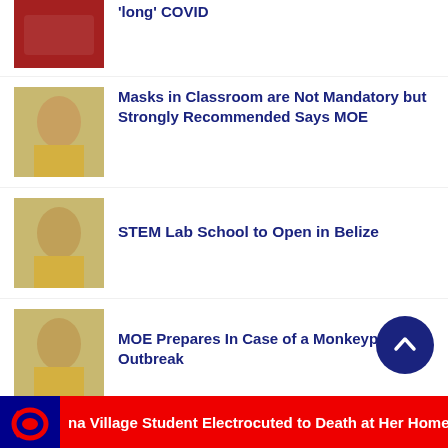[Figure (photo): Thumbnail image - news article about long COVID]
'long' COVID
[Figure (photo): Thumbnail image - person in yellow shirt]
Masks in Classroom are Not Mandatory but Strongly Recommended Says MOE
[Figure (photo): Thumbnail image - person in yellow shirt]
STEM Lab School to Open in Belize
[Figure (photo): Thumbnail image - person in yellow shirt]
MOE Prepares In Case of a Monkeypox Outbreak
na Village Student Electrocuted to Death at Her Home